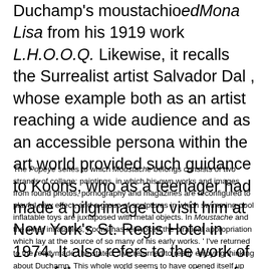Duchamp's moustachioed Mona Lisa from his 1919 work L.H.O.O.Q. Likewise, it recalls the Surrealist artist Salvador Dal , whose example both as an artist reaching a wide audience and as an accessible persona within the art world provided such guidance to Koons, who as a teenager had made a pilgrimage to visit him at New York's St. Regis Hotel in 1974. It also refers to the work of one of the great protagonists of so-called 'Outsider Art' in Chicago, H.C. Westermann, whose own semi-autobiographical prints of the Dance of Death featured a sailor sporting a rather rakish moustache.
The Popeye series to which Moustache belongs consists of two strands of collage: paintings, in which his own works and images from found photos, pornography and magazines are reconfigured to playful new effect, and a group of sculptures in which swimming-pool inflatable toys are juxtaposed with metal objects. In Moustache and the other inflatables, Koons has reinvoked the piratical appropriation which lay at the source of so many of his early works. ' I've returned to the readymade,' he stated. 'I've returned to really enjoying thinking about Duchamp. This whole world seems to have opened itself up again to me, the dialogue of art' (Koons, quoted in H. Werner Holzwarth, Jeff Koons, Cologne, 2009, p. 504). For this series, Koons made a practice of trawling through shops and websites, searching for inflatable toys that somehow embodied the almost Platonic perfection and recognisability that gives his work its intense visual